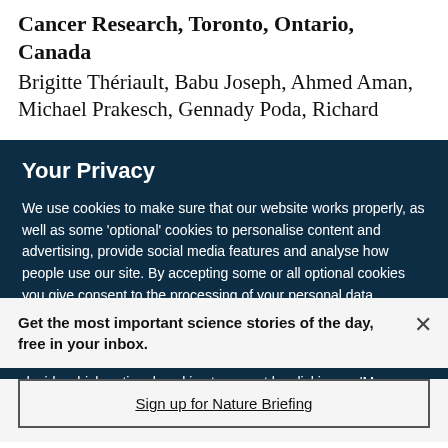Cancer Research, Toronto, Ontario, Canada
Brigitte Thériault, Babu Joseph, Ahmed Aman, Michael Prakesch, Gennady Poda, Richard
Your Privacy
We use cookies to make sure that our website works properly, as well as some 'optional' cookies to personalise content and advertising, provide social media features and analyse how people use our site. By accepting some or all optional cookies you give consent to the processing of your personal data, including transfer to third parties, some in countries outside of the European Economic Area that do not offer the same data protection standards as the country where you live. You can decide which optional cookies to accept by clicking on 'Manage Settings', where you can
Get the most important science stories of the day, free in your inbox.
Sign up for Nature Briefing